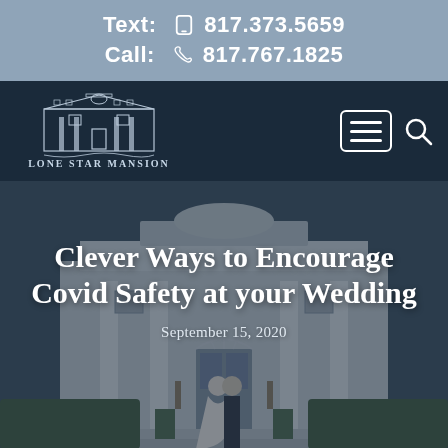Text: 817.373.5659  Call: 817.767.1825
[Figure (logo): Lone Star Mansion logo with mansion building illustration and text 'LONE STAR MANSION']
Clever Ways to Encourage Covid Safety at your Wedding
September 15, 2020
[Figure (photo): Wedding couple kissing in front of a large white mansion with columns and manicured hedges]